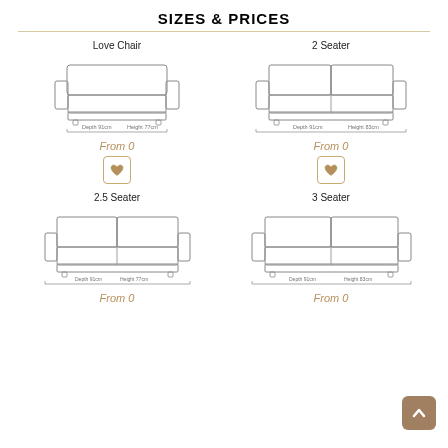SIZES & PRICES
[Figure (illustration): Line drawing front view of Love Chair sofa with dimension annotations: Depth 91cm, Height 77cm, Width 112cm]
Love Chair
From 0
[Figure (illustration): Love Chair heart/wishlist button icon]
[Figure (illustration): Line drawing front view of 2 Seater sofa with dimension annotations: Depth 91cm, Height 83cm, Width 148cm]
2 Seater
From 0
[Figure (illustration): 2 Seater heart/wishlist button icon]
[Figure (illustration): Line drawing front view of 2.5 Seater sofa with dimension annotations: Depth 91cm, Height 77cm, Width 166cm]
2.5 Seater
From 0
[Figure (illustration): Line drawing front view of 3 Seater sofa with dimension annotations: Depth 91cm, Height 83cm, Width 196cm]
3 Seater
From 0